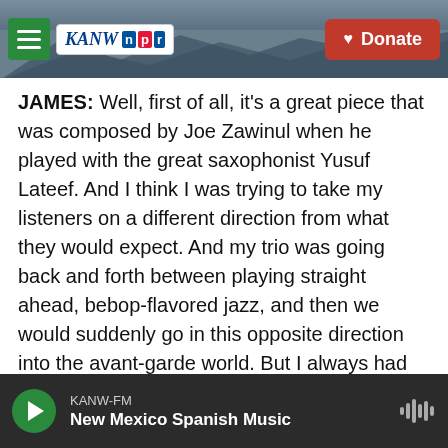[Figure (screenshot): KANW NPR radio station website header with navigation bar showing hamburger menu, KANW NPR logo, and red Donate button over a mountain background photo]
JAMES: Well, first of all, it's a great piece that was composed by Joe Zawinul when he played with the great saxophonist Yusuf Lateef. And I think I was trying to take my listeners on a different direction from what they would expect. And my trio was going back and forth between playing straight ahead, bebop-flavored jazz, and then we would suddenly go in this opposite direction into the avant-garde world. But I always had the feeling of wanting to bring them back home having felt that they were on an interesting adventure.
KELLY: Well, let me turn us in the direction of what
KANW-FM
New Mexico Spanish Music